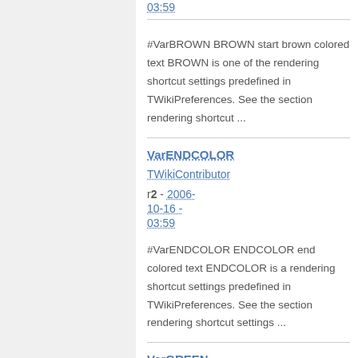03:59
#VarBROWN BROWN start brown colored text BROWN is one of the rendering shortcut settings predefined in TWikiPreferences. See the section rendering shortcut ...
VarENDCOLOR
TWikiContributor
r2 - 2006-10-16 - 03:59
#VarENDCOLOR ENDCOLOR end colored text ENDCOLOR is a rendering shortcut settings predefined in TWikiPreferences. See the section rendering shortcut settings ...
VarGREEN
TWikiContributor
r2 - 2006-10-16 -